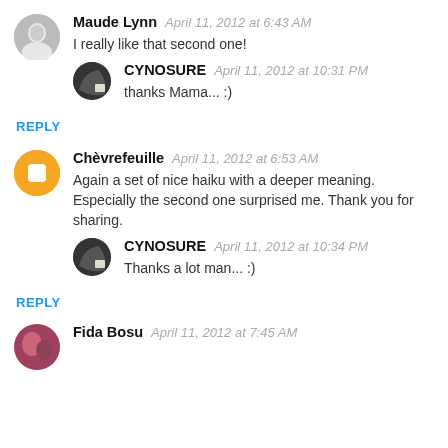Maude Lynn  April 11, 2012 at 6:43 AM
I really like that second one!
CYNOSURE  April 11, 2012 at 10:31 PM
thanks Mama... :)
REPLY
Chèvrefeuille  April 11, 2012 at 6:53 AM
Again a set of nice haiku with a deeper meaning. Especially the second one surprised me. Thank you for sharing.
CYNOSURE  April 11, 2012 at 10:34 PM
Thanks a lot man... :)
REPLY
Fida Bosu  April 11, 2012 at 7:45 AM